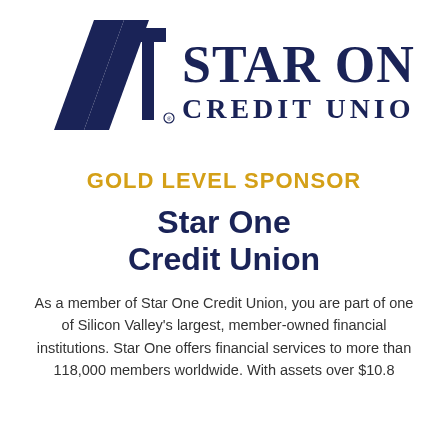[Figure (logo): Star One Credit Union logo with stylized '1' graphic and text 'STAR ONE CREDIT UNION']
GOLD LEVEL SPONSOR
Star One Credit Union
As a member of Star One Credit Union, you are part of one of Silicon Valley's largest, member-owned financial institutions. Star One offers financial services to more than 118,000 members worldwide. With assets over $10.8